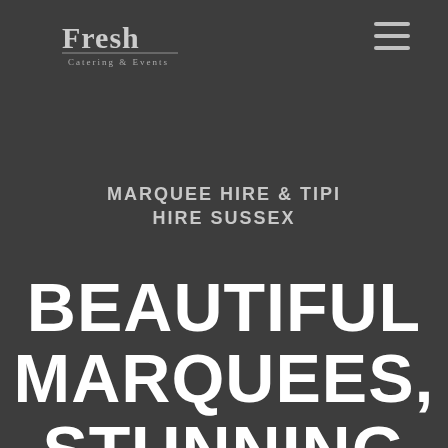[Figure (logo): Fresh Catering & Events logo in white serif/decorative font on dark background]
MARQUEE HIRE & TIPI HIRE SUSSEX
BEAUTIFUL MARQUEES, STUNNING